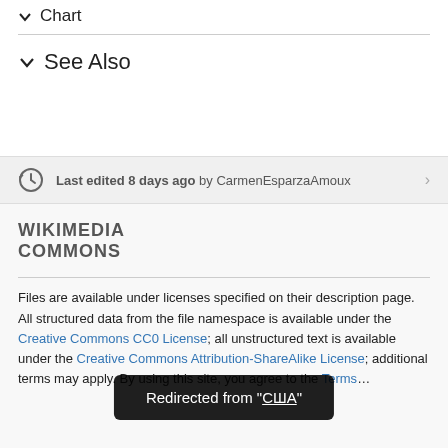▾ Chart
∨ See Also
Last edited 8 days ago by CarmenEsparzaAmoux
WIKIMEDIA COMMONS
Files are available under licenses specified on their description page. All structured data from the file namespace is available under the Creative Commons CC0 License; all unstructured text is available under the Creative Commons Attribution-ShareAlike License; additional terms may apply. By using this site, you agree to the Terms of Use and Privacy Policy.
Redirected from "США"